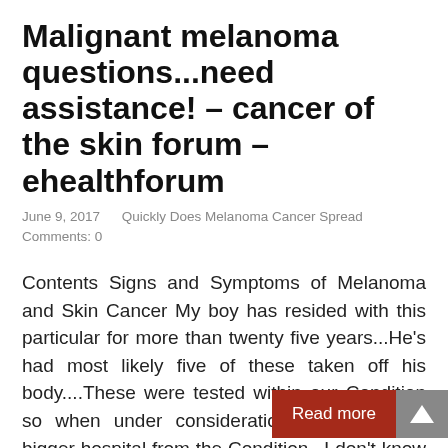Malignant melanoma questions...need assistance! – cancer of the skin forum – ehealthforum
June 9, 2017   Quickly Does Melanoma Cancer Spread   Comments: 0
Contents Signs and Symptoms of Melanoma and Skin Cancer My boy has resided with this particular for more than twenty five years...He's had most likely five of these taken off his body....These were tested within our Condition so when under consideration sent to some bigger hospital from the Condition...I don't know where, but Colorado rings ...